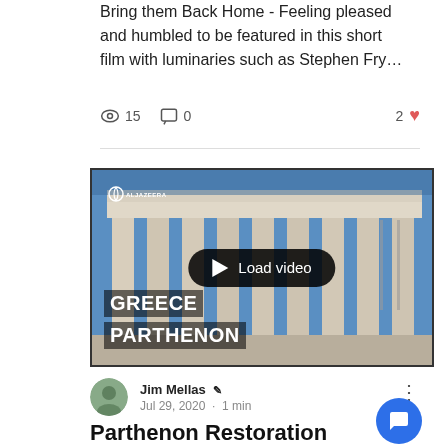Bring them Back Home - Feeling pleased and humbled to be featured in this short film with luminaries such as Stephen Fry…
15 views · 0 comments · 2 likes
[Figure (screenshot): Al Jazeera video thumbnail showing the Parthenon columns in Greece with a 'Load video' play button overlay and labels reading 'GREECE' and 'PARTHENON']
Jim Mellas Admin
Jul 29, 2020 · 1 min
Parthenon Restoration Program